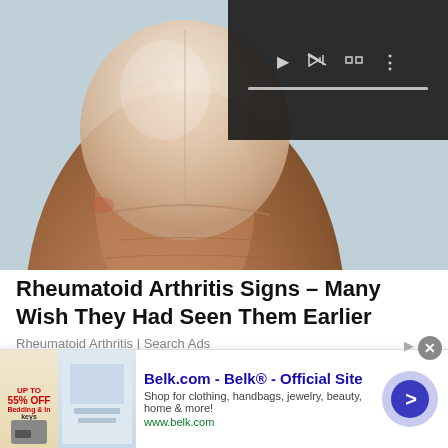[Figure (photo): Close-up photo of a fingertip/fingernail showing skin texture, with a video player overlay in the upper right corner showing play/mute/fullscreen controls and a progress bar on a dark background.]
Rheumatoid Arthritis Signs – Many Wish They Had Seen Them Earlier
Rheumatoid Arthritis | Search Ads
Related articles
[Figure (screenshot): Advertisement banner for Belk.com - Belk® Official Site. Shows small product thumbnails on the left, ad text 'Belk.com - Belk® - Official Site', description 'Shop for clothing, handbags, jewelry, beauty, home & more!', URL 'www.belk.com', and a blue arrow button on the right. Has a close (X) button at top right.]